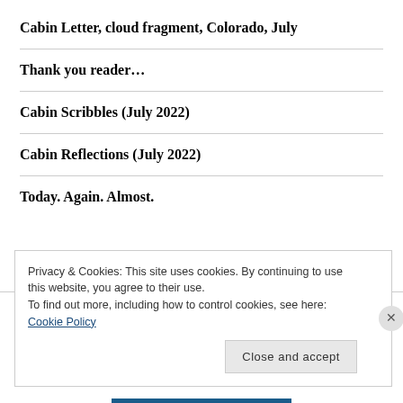Cabin Letter, cloud fragment, Colorado, July
Thank you reader...
Cabin Scribbles (July 2022)
Cabin Reflections (July 2022)
Today. Again. Almost.
Privacy & Cookies: This site uses cookies. By continuing to use this website, you agree to their use.
To find out more, including how to control cookies, see here: Cookie Policy
Close and accept